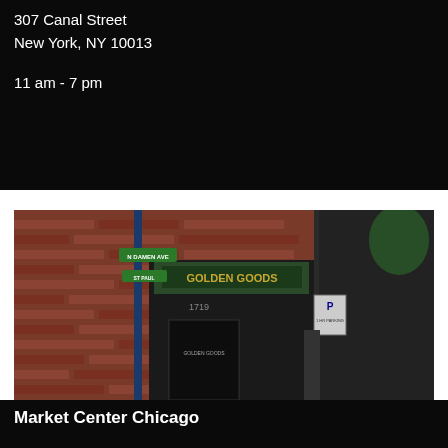307 Canal Street
New York, NY 10013

11 am - 7 pm
[Figure (photo): Exterior photo of a brick building storefront with street signs for N. Damen Ave. and St. Paul, showing a store with 'Golden Goods' signage at 1719, with glass windows and doors, a parking sign, and a blue pole with street signs at the corner.]
Market Center Chicago

1719 N. Damen Ave.
Chicago, IL 60647

11 am - 7 pm